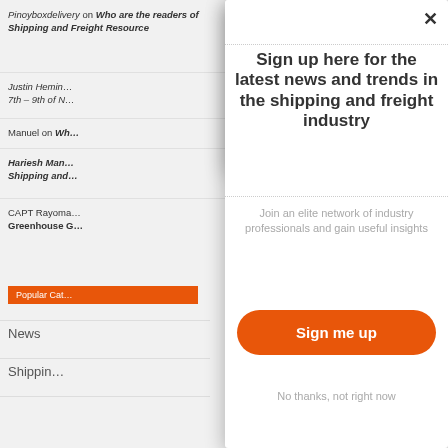Pinoyboxdelivery on Who are the readers of Shipping and Freight Resource
Justin Hemin… 7th – 9th of N…
Manuel on Wh…
Hariesh Man… Shipping and…
CAPT Rayoma… Greenhouse G…
Popular Cat…
News
Shippin…
[Figure (screenshot): Modal popup overlay with newsletter signup. Title: 'Sign up here for the latest news and trends in the shipping and freight industry'. Subtitle: 'Join an elite network of industry professionals and gain useful insights'. Orange button: 'Sign me up'. Link: 'No thanks, not right now'. Close X button in top right.]